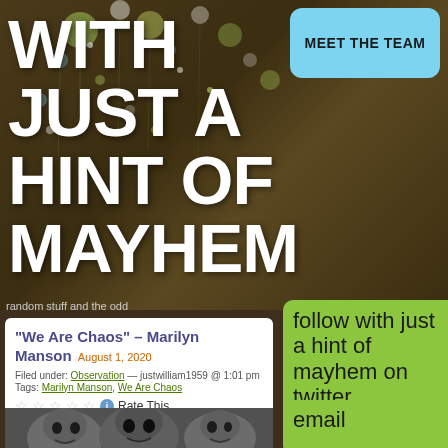WITH JUST A HINT OF MAYHEM
MEET THE TEAM
random stuff and the odd
“We Are Chaos” – Marilyn Manson August 1, 2020
Filed under: Observation — justwilliam1959 @ 1:01 pm
Tags: Marilyn Manson, We Are Chaos
Rate This
[Figure (photo): Black and white photo of multiple Marilyn Manson faces with heavy makeup]
follow with just a hint of mayhem on twitter
My Tweets
email